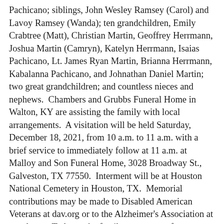Pachicano; siblings, John Wesley Ramsey (Carol) and Lavoy Ramsey (Wanda); ten grandchildren, Emily Crabtree (Matt), Christian Martin, Geoffrey Herrmann, Joshua Martin (Camryn), Katelyn Herrmann, Isaias Pachicano, Lt. James Ryan Martin, Brianna Herrmann, Kabalanna Pachicano, and Johnathan Daniel Martin; two great grandchildren; and countless nieces and nephews.  Chambers and Grubbs Funeral Home in Walton, KY are assisting the family with local arrangements.  A visitation will be held Saturday, December 18, 2021, from 10 a.m. to 11 a.m. with a brief service to immediately follow at 11 a.m. at Malloy and Son Funeral Home, 3028 Broadway St., Galveston, TX 77550.  Interment will be at Houston National Cemetery in Houston, TX.  Memorial contributions may be made to Disabled American Veterans at dav.org or to the Alzheimer's Association at act.alz.org. To leave the family a message of condolence, please go to www.chambersandgrubbs.com